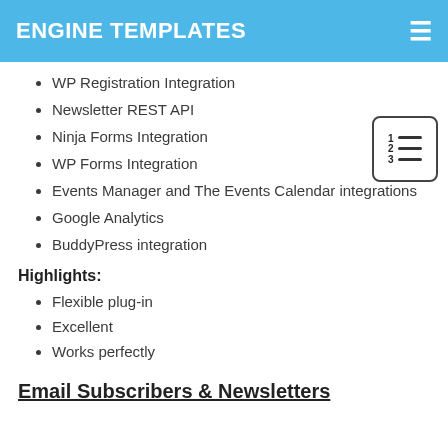ENGINE TEMPLATES
WP Registration Integration
Newsletter REST API
Ninja Forms Integration
WP Forms Integration
Events Manager and The Events Calendar integrations
Google Analytics
BuddyPress integration
Highlights:
Flexible plug-in
Excellent
Works perfectly
Email Subscribers & Newsletters